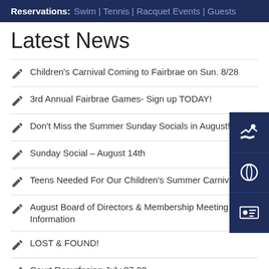Reservations: Swim | Tennis | Racquet Events | Guests
Latest News
Children's Carnival Coming to Fairbrae on Sun. 8/28
3rd Annual Fairbrae Games- Sign up TODAY!
Don't Miss the Summer Sunday Socials in August!
Sunday Social – August 14th
Teens Needed For Our Children's Summer Carnival!
August Board of Directors & Membership Meeting Information
LOST & FOUND!
Court Resurfacing July 27-29
Don't Miss the 7/17 Sunday Summer Social!
Rentals at Fairbrae- Get a Date on Our Calendar for Your Next Party!